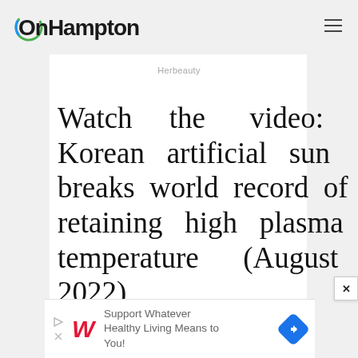OnHampton
Herbeauty
Watch the video: Korean artificial sun breaks world record of retaining high plasma temperature (August 2022)
[Figure (other): Advertisement banner: Walgreens logo with text 'Support Whatever Healthy Living Means to You!' and a blue navigation arrow icon]